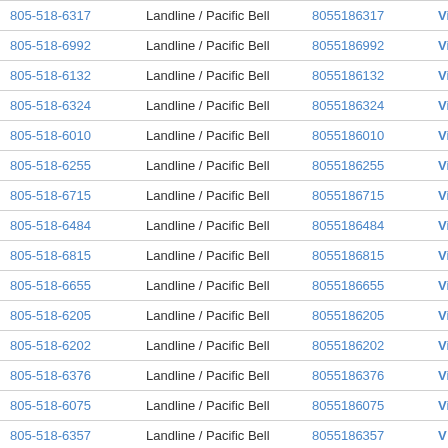| Phone | Type | Number | Action |
| --- | --- | --- | --- |
| 805-518-6317 | Landline / Pacific Bell | 8055186317 | View Results |
| 805-518-6992 | Landline / Pacific Bell | 8055186992 | View Results |
| 805-518-6132 | Landline / Pacific Bell | 8055186132 | View Results |
| 805-518-6324 | Landline / Pacific Bell | 8055186324 | View Results |
| 805-518-6010 | Landline / Pacific Bell | 8055186010 | View Results |
| 805-518-6255 | Landline / Pacific Bell | 8055186255 | View Results |
| 805-518-6715 | Landline / Pacific Bell | 8055186715 | View Results |
| 805-518-6484 | Landline / Pacific Bell | 8055186484 | View Results |
| 805-518-6815 | Landline / Pacific Bell | 8055186815 | View Results |
| 805-518-6655 | Landline / Pacific Bell | 8055186655 | View Results |
| 805-518-6205 | Landline / Pacific Bell | 8055186205 | View Results |
| 805-518-6202 | Landline / Pacific Bell | 8055186202 | View Results |
| 805-518-6376 | Landline / Pacific Bell | 8055186376 | View Results |
| 805-518-6075 | Landline / Pacific Bell | 8055186075 | View Results |
| 805-518-6357 | Landline / Pacific Bell | 8055186357 | V ▲ Its |
| 805-518-6004 | Landline / Pacific Bell | 8055186004 | Vie... ...sults |
| 805-518-6608 | Landline / Pacific Bell | 8055186608 | View Results |
| 805-518-6260 | Landline / Pacific Bell | 8055186260 | View Results |